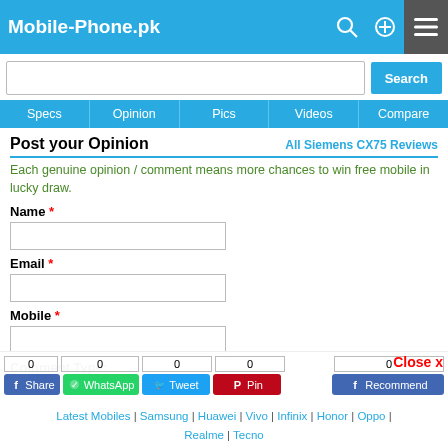Mobile-Phone.pk
Search
Specs | Opinion | Pics | Videos | Compare
Post your Opinion
All Siemens CX75 Reviews
Each genuine opinion / comment means more chances to win free mobile in lucky draw.
Name *
Email *
Mobile *
Comment Type:
Close x
0 Share | 0 WhatsApp | 0 Tweet | 0 Pin | 0 Recommend
Latest Mobiles | Samsung | Huawei | Vivo | Infinix | Honor | Oppo | Realme | Tecno